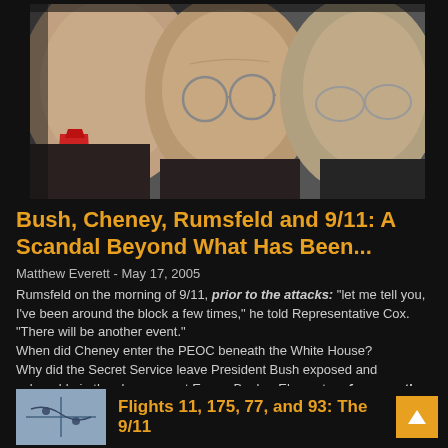[Figure (photo): Close-up photo of three men: George W. Bush (partially visible, left), Donald Rumsfeld (center, wearing glasses), and Dick Cheney (right, wearing glasses). Bush has a red tie visible.]
Bush, Cheney, Rumsfeld and 9/11: A Scandal Beyond What Has Been...
Matthew Everett  -  May 17, 2005
Rumsfeld on the morning of 9/11, prior to the attacks: "let me tell you, I've been around the block a few times," he told Representative Cox. "There will be another event."
When did Cheney enter the PEOC beneath the White House?
Why did the Secret Service leave President Bush exposed and vulnerable in the classroom at Emma Booker Elementary for more than 10 minutes after they knew we were under attack?
[Figure (photo): Thumbnail image related to Flights 11, 175, 77, and 93 article]
Flights 11, 175, 77, and 93: The 9/11